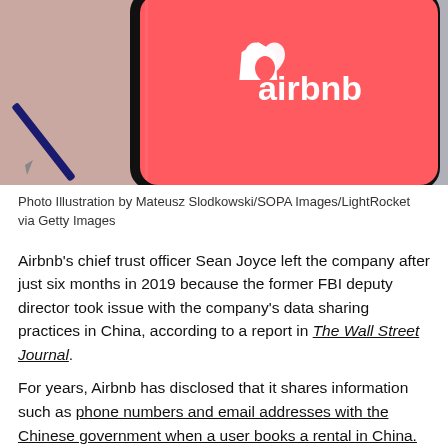[Figure (photo): Photo of a smartphone showing the Airbnb app logo (salmon/red background with white Airbnb logo and wordmark) resting on a surface next to a pen]
Photo Illustration by Mateusz Slodkowski/SOPA Images/LightRocket via Getty Images
Airbnb's chief trust officer Sean Joyce left the company after just six months in 2019 because the former FBI deputy director took issue with the company's data sharing practices in China, according to a report in The Wall Street Journal.
For years, Airbnb has disclosed that it shares information such as phone numbers and email addresses with the Chinese government when a user books a rental in China.